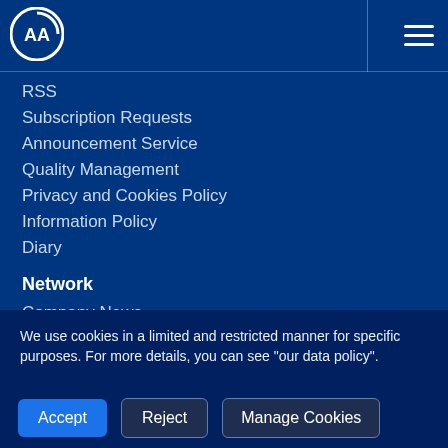[Figure (logo): AA (Anadolu Agency) logo - white circular logo with AA letters]
RSS
Subscription Requests
Announcement Service
Quality Management
Privacy and Cookies Policy
Information Policy
Diary
Network
Company News
Finance Terminal
We use cookies in a limited and restricted manner for specific purposes. For more details, you can see "our data policy".
Accept
Reject
Manage Cookies